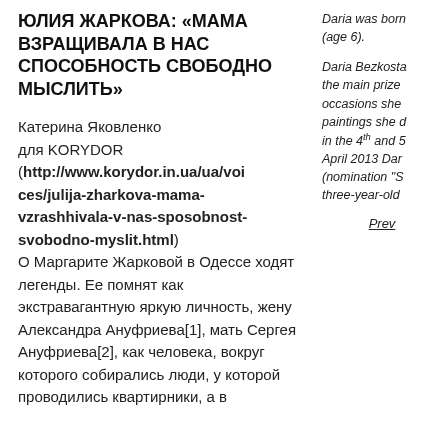ЮЛИЯ ЖАРКОВА: «МАМА ВЗРАЩИВАЛА В НАС СПОСОБНОСТЬ СВОБОДНО МЫСЛИТЬ»
Катерина Яковленко для KORYDOR (http://www.korydor.in.ua/ua/voices/julija-zharkova-mama-vzrashhivala-v-nas-sposobnost-svobodno-myslit.html) О Маргарите Жарковой в Одессе ходят легенды. Ее помнят как экстравагантную яркую личность, жену Александра Ануфриева[1], мать Сергея Ануфриева[2], как человека, вокруг которого собирались люди, у которой проводились квартирники, а в
Daria was born (age 6).
Daria Bezkosta the main prize occasions she paintings she d in the 4th and 5 April 2013 Dar (nomination "S three-year-old
Prev